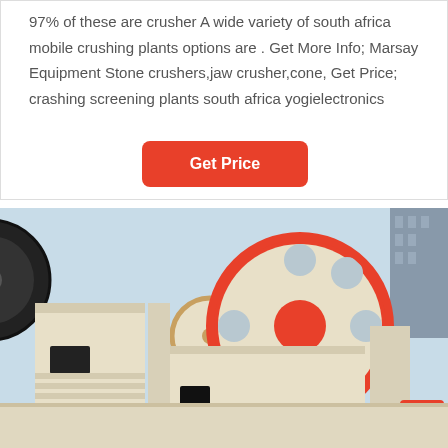97% of these are crusher A wide variety of south africa mobile crushing plants options are . Get More Info; Marsay Equipment Stone crushers,jaw crusher,cone, Get Price; crashing screening plants south africa yogielectronics
Get Price
[Figure (photo): Industrial jaw crusher machinery with large flywheel/pulley wheels in cream/beige color with red trim, photographed outdoors against a light blue sky. Multiple crusher units visible, featuring prominent circular flywheel with spoke pattern and red center hub.]